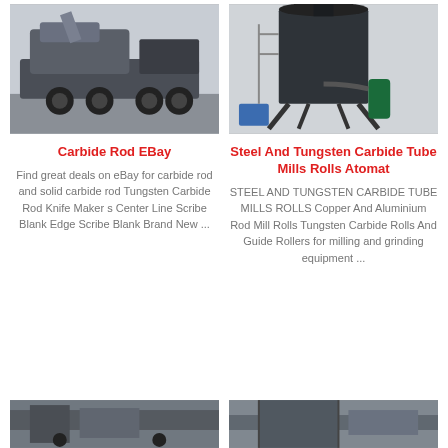[Figure (photo): A heavy mobile crusher machine on a truck with large wheels on a concrete surface]
[Figure (photo): A large industrial filtration or dust collection tower structure with pipes, outdoors]
Carbide Rod EBay
Steel And Tungsten Carbide Tube Mills Rolls Atomat
Find great deals on eBay for carbide rod and solid carbide rod Tungsten Carbide Rod Knife Maker s Center Line Scribe Blank Edge Scribe Blank Brand New ...
STEEL AND TUNGSTEN CARBIDE TUBE MILLS ROLLS Copper And Aluminium Rod Mill Rolls Tungsten Carbide Rolls And Guide Rollers for milling and grinding equipment ...
[Figure (photo): Industrial machine or equipment close-up]
[Figure (photo): Industrial machinery or metal processing equipment]